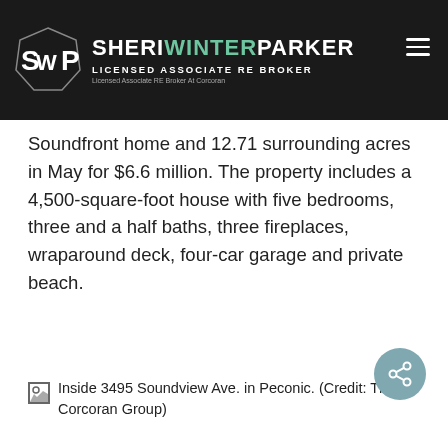SHERI WINTER PARKER — LICENSED ASSOCIATE RE BROKER — Licensed Associate RE Broker At Corcoran
Soundfront home and 12.71 surrounding acres in May for $6.6 million. The property includes a 4,500-square-foot house with five bedrooms, three and a half baths, three fireplaces, wraparound deck, four-car garage and private beach.
[Figure (photo): Image placeholder for Inside 3495 Soundview Ave. in Peconic. (Credit: The Corcoran Group)]
Inside 3495 Soundview Ave. in Peconic. (Credit: The Corcoran Group)